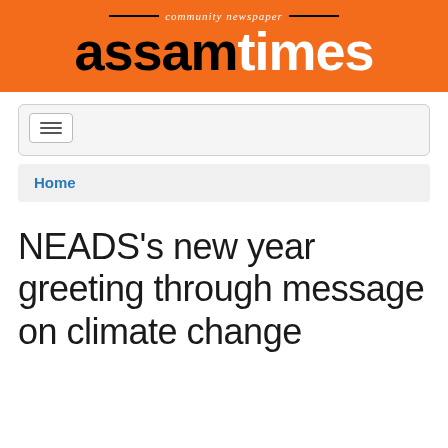community newspaper — assamtimes
[Figure (logo): Assam Times community newspaper logo on orange background. 'assam' in black bold text and 'times' in white bold text, with 'community newspaper' in italic above.]
☰
Home
NEADS's new year greeting through message on climate change